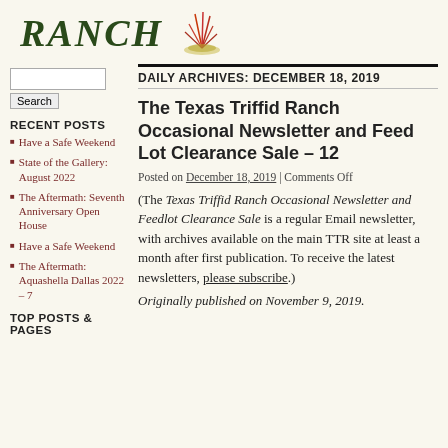Ranch
DAILY ARCHIVES: DECEMBER 18, 2019
The Texas Triffid Ranch Occasional Newsletter and Feed Lot Clearance Sale – 12
Posted on December 18, 2019 | Comments Off
(The Texas Triffid Ranch Occasional Newsletter and Feedlot Clearance Sale is a regular Email newsletter, with archives available on the main TTR site at least a month after first publication. To receive the latest newsletters, please subscribe.)
Originally published on November 9, 2019.
RECENT POSTS
Have a Safe Weekend
State of the Gallery: August 2022
The Aftermath: Seventh Anniversary Open House
Have a Safe Weekend
The Aftermath: Aquashella Dallas 2022 – 7
TOP POSTS & PAGES